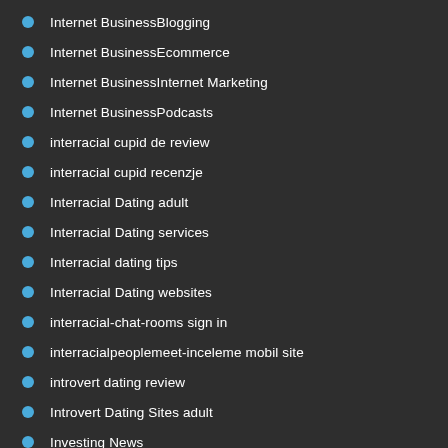Internet BusinessBlogging
Internet BusinessEcommerce
Internet BusinessInternet Marketing
Internet BusinessPodcasts
interracial cupid de review
interracial cupid recenzje
Interracial Dating adult
Interracial Dating services
Interracial dating tips
Interracial Dating websites
interracial-chat-rooms sign in
interracialpeoplemeet-inceleme mobil site
introvert dating review
Introvert Dating Sites adult
Investing News